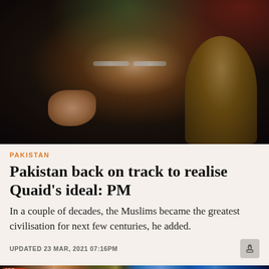[Figure (photo): Photo of a man in a dark suit with glasses, gesturing with his hand, seated in an ornate chair with floral gold detailing, with flags or colorful banners visible in the background.]
PAKISTAN
Pakistan back on track to realise Quaid's ideal: PM
In a couple of decades, the Muslims became the greatest civilisation for next few centuries, he added.
UPDATED 23 MAR, 2021 07:16PM
[Figure (photo): Bottom strip showing a busy market or shop scene with colorful goods and signage visible.]